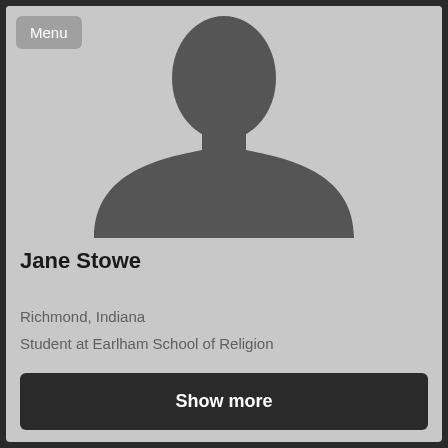Menu
[Figure (illustration): Generic silhouette profile photo placeholder showing a gray bust/shoulders outline on a lighter gray background]
Jane Stowe
Richmond, Indiana
Student at Earlham School of Religion
Show more